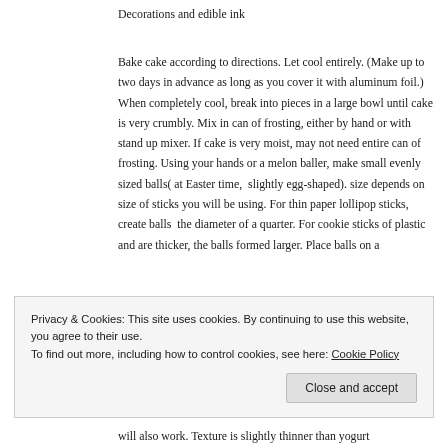Decorations and edible ink
Bake cake according to directions. Let cool entirely. (Make up to two days in advance as long as you cover it with aluminum foil.) When completely cool, break into pieces in a large bowl until cake is very crumbly. Mix in can of frosting, either by hand or with stand up mixer. If cake is very moist, may not need entire can of frosting. Using your hands or a melon baller, make small evenly sized balls( at Easter time,  slightly egg-shaped). size depends on size of sticks you will be using. For thin paper lollipop sticks, create balls  the diameter of a quarter. For cookie sticks of plastic and are thicker, the balls formed larger. Place balls on a
Privacy & Cookies: This site uses cookies. By continuing to use this website, you agree to their use.
To find out more, including how to control cookies, see here: Cookie Policy
Close and accept
will also work. Texture is slightly thinner than yogurt